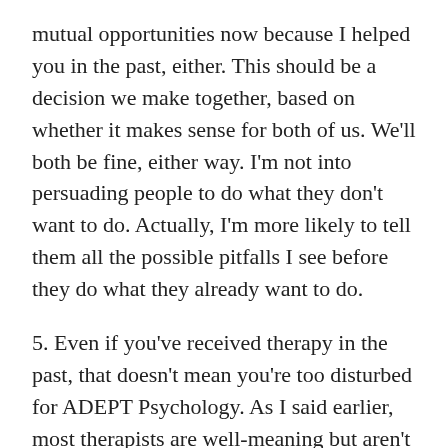mutual opportunities now because I helped you in the past, either. This should be a decision we make together, based on whether it makes sense for both of us. We'll both be fine, either way. I'm not into persuading people to do what they don't want to do. Actually, I'm more likely to tell them all the possible pitfalls I see before they do what they already want to do.
5. Even if you've received therapy in the past, that doesn't mean you're too disturbed for ADEPT Psychology. As I said earlier, most therapists are well-meaning but aren't trained to address these problems. I've found that past therapy clients take longer to recover, not because they're more disturbed than anybody else, but because they have